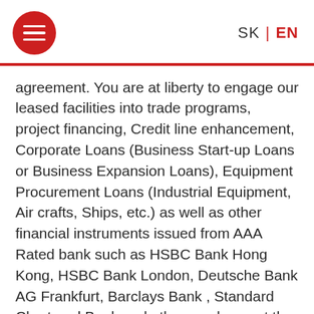SK | EN
agreement. You are at liberty to engage our leased facilities into trade programs, project financing, Credit line enhancement, Corporate Loans (Business Start-up Loans or Business Expansion Loans), Equipment Procurement Loans (Industrial Equipment, Air crafts, Ships, etc.) as well as other financial instruments issued from AAA Rated bank such as HSBC Bank Hong Kong, HSBC Bank London, Deutsche Bank AG Frankfurt, Barclays Bank , Standard Chartered Bank and others on lease at the lowest available rates depending on the face value of the instrument needed, Our Terms and Conditions are reasonable. DESCRIPTION OF INSTRUMENTS:  1. Instrument: Bank Guarantee (BG)/SBLC (Appendix A)  2. Total Face Value: 10M MIN to 50B MAX USD or Euro  3. Issuing Bank: HSBC, Deutsche Bank Frankfurt, UBS